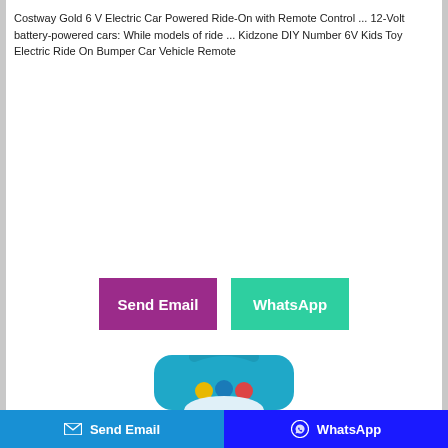Costway Gold 6 V Electric Car Powered Ride-On with Remote Control ... 12-Volt battery-powered cars: While models of ride ... Kidzone DIY Number 6V Kids Toy Electric Ride On Bumper Car Vehicle Remote
[Figure (other): Two call-to-action buttons: 'Send Email' (purple/magenta) and 'WhatsApp' (teal/green)]
[Figure (photo): Partial photo of a blue children's ride-on toy/bumper car with yellow gear decorations and a handle, visible from approximately mid-section upward]
Send Email   WhatsApp